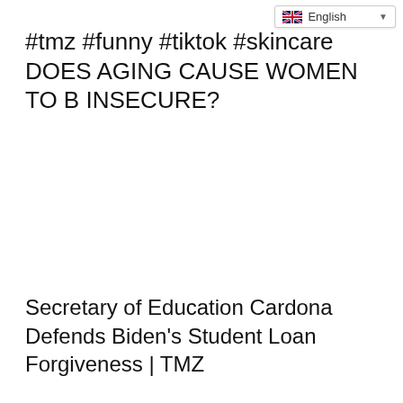English
#tmz #funny #tiktok #skincare DOES AGING CAUSE WOMEN TO B INSECURE?
Secretary of Education Cardona Defends Biden's Student Loan Forgiveness | TMZ